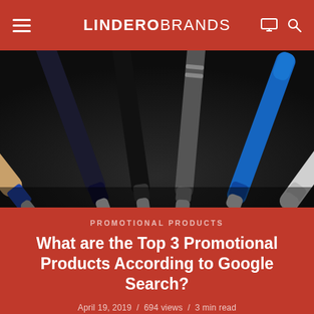LINDEROBRANDS
[Figure (photo): Close-up photo of several ballpoint pens arranged in a fan shape with their tips pointing down, showing various colors including tan/wood, blue, black, gray/silver, blue, and silver pens against a dark background.]
PROMOTIONAL PRODUCTS
What are the Top 3 Promotional Products According to Google Search?
April 19, 2019 / 694 views / 3 min read